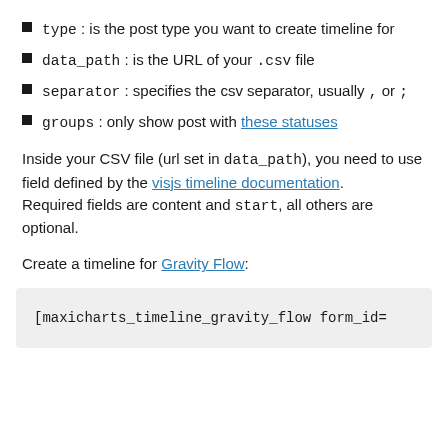type : is the post type you want to create timeline for
data_path : is the URL of your .csv file
separator : specifies the csv separator, usually , or ;
groups : only show post with these statuses
Inside your CSV file (url set in data_path), you need to use field defined by the visjs timeline documentation. Required fields are content and start, all others are optional.
Create a timeline for Gravity Flow:
[maxicharts_timeline_gravity_flow form_id=